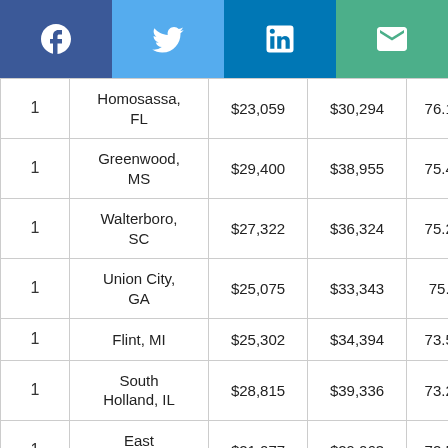Social share buttons: Facebook, Twitter, LinkedIn, Email
|  | City | Value1 | Value2 | Pct |
| --- | --- | --- | --- | --- |
| 1 | Homosassa, FL | $23,059 | $30,294 | 76.12% |
| 1 | Greenwood, MS | $29,400 | $38,955 | 75.47% |
| 1 | Walterboro, SC | $27,322 | $36,324 | 75.22% |
| 1 | Union City, GA | $25,075 | $33,343 | 75.2% |
| 1 | Flint, MI | $25,302 | $34,394 | 73.57% |
| 1 | South Holland, IL | $28,815 | $39,336 | 73.25% |
| 1 | East Liverpool, | $21,077 | $29,063 | 72.52% |